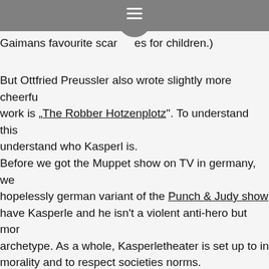☰
Gaimans favourite scary stories for children.)
But Ottfried Preussler also wrote slightly more cheerful work is „The Robber Hotzenplotz". To understand this understand who Kasperl is.
Before we got the Muppet show on TV in germany, we hopelessly german variant of the Punch & Judy show. have Kasperle and he isn't a violent anti-hero but more archetype. As a whole, Kasperletheater is set up to in morality and to respect societies norms.